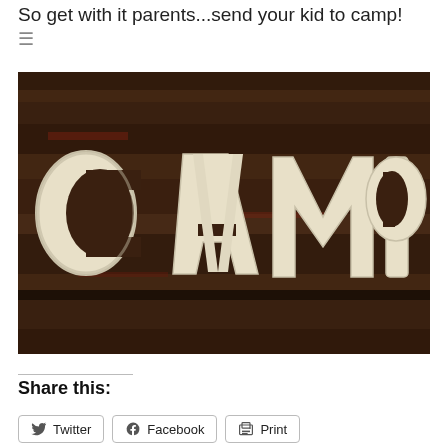So get with it parents...send your kid to camp!
[Figure (photo): Wooden sign with white clay or molded letters spelling CAMP on a dark wood plank background]
Share this:
Twitter  Facebook  Print